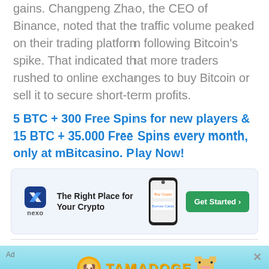gains. Changpeng Zhao, the CEO of Binance, noted that the traffic volume peaked on their trading platform following Bitcoin's spike. That indicated that more traders rushed to online exchanges to buy Bitcoin or sell it to secure short-term profits.
5 BTC + 300 Free Spins for new players & 15 BTC + 35.000 Free Spins every month, only at mBitcasino. Play Now!
[Figure (infographic): Nexo advertisement banner: logo on left, text 'The Right Place for Your Crypto', phone image in center, green 'Get Started >' button on right]
[Figure (infographic): Tamadoge advertisement: sky/trees background, coin logo, TAMADOGE wordmark, pixel dog, text 'Next Meme Coin to 100x in Value', yellow READ MORE button]